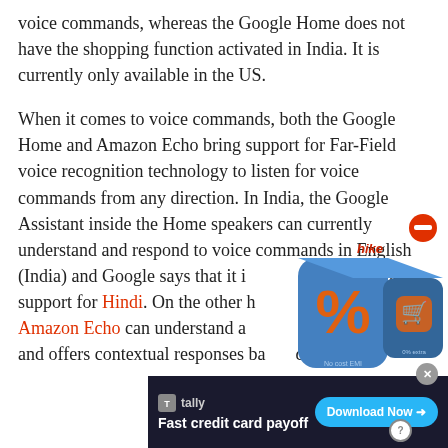voice commands, whereas the Google Home does not have the shopping function activated in India. It is currently only available in the US.
When it comes to voice commands, both the Google Home and Amazon Echo bring support for Far-Field voice recognition technology to listen for voice commands from any direction. In India, the Google Assistant inside the Home speakers can currently understand and respond to voice commands in English (India) and Google says that it is adding support for Hindi. On the other h[and, Alexa] on the Amazon Echo can understand a[nd speak] of Hinglish and offers contextual responses ba[se]d on a user[...]
[Figure (illustration): A 3D game/app box with orange percentage symbol and shopping icons on a dark background, with a red minus/remove button overlay in the top right.]
[Figure (screenshot): Tally app advertisement banner: dark background with Tally logo, text 'Fast credit card payoff', and a 'Download Now' button in cyan/blue.]